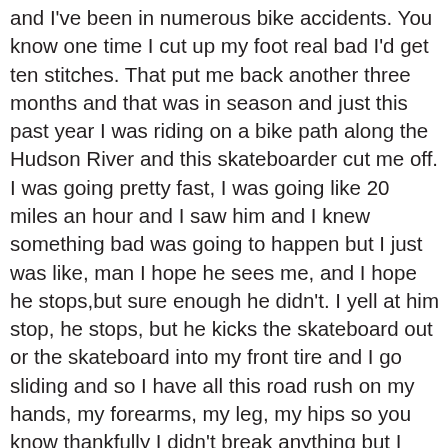and I've been in numerous bike accidents. You know one time I cut up my foot real bad I'd get ten stitches. That put me back another three months and that was in season and just this past year I was riding on a bike path along the Hudson River and this skateboarder cut me off. I was going pretty fast, I was going like 20 miles an hour and I saw him and I knew something bad was going to happen but I just was like, man I hope he sees me, and I hope he stops,but sure enough he didn't. I yell at him stop, he stops, but he kicks the skateboard out or the skateboard into my front tire and I go sliding and so I have all this road rush on my hands, my forearms, my leg, my hips so you know thankfully I didn't break anything but I don't know if you've ever had road rush but it's really painful and it takes a while to heal as well so injuries have been some real big setbacks of mine, getting to where I want to be and where I'm at now and the second is my lack of training properly.